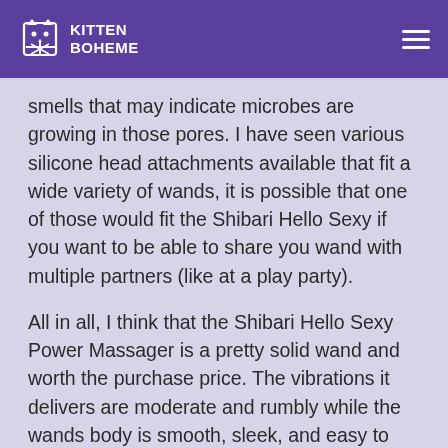KITTEN BOHEME
smells that may indicate microbes are growing in those pores. I have seen various silicone head attachments available that fit a wide variety of wands, it is possible that one of those would fit the Shibari Hello Sexy if you want to be able to share you wand with multiple partners (like at a play party).
All in all, I think that the Shibari Hello Sexy Power Massager is a pretty solid wand and worth the purchase price. The vibrations it delivers are moderate and rumbly while the wands body is smooth, sleek, and easy to hold. If you are in the market for a wand that is less intense than the the popular go-to wands (Doxy/Hitachi) but still delivers a quality vibration, the Shibari Hello Sexy